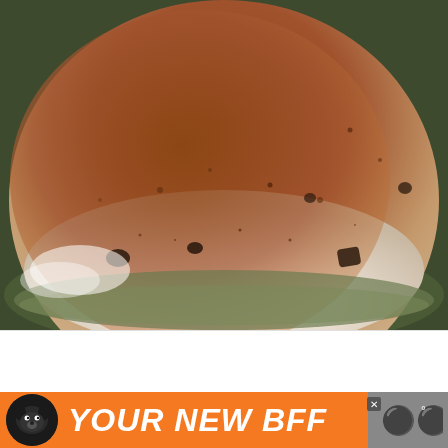[Figure (photo): Close-up photo of a beverage or dessert in a glass/crystal bowl. The surface shows creamy white foam with cocoa or cinnamon powder dusted over it, along with dark chocolate chip pieces scattered throughout. The glass has a thick rim visible at the bottom.]
[Figure (photo): Advertisement banner with orange background featuring a black dog silhouette on the left and bold white italic text reading YOUR NEW BFF. A close button (x) appears in the upper right of the ad. A grey panel on the far right shows a weather/app icon with degrees symbol.]